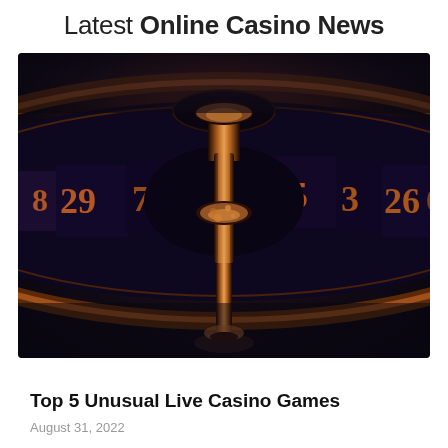Latest Online Casino News
[Figure (photo): Close-up photograph of a roulette wheel with orange/amber and dark blue tones. Numbers visible include 8, 29, 7, 28, 35, 3, 26, 0. The center spindle is prominently lit in metallic tones.]
Top 5 Unusual Live Casino Games
August 31, 2022